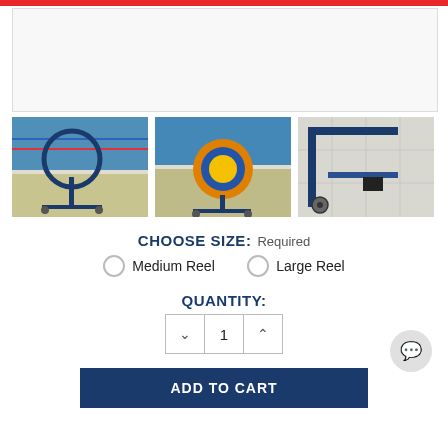[Figure (photo): Main product image area - large empty white/gray box at top]
[Figure (photo): Thumbnail 1: Metal reel/frame cart beside a swimming pool, blue frame with circular ring, navy legs with wheels]
[Figure (photo): Thumbnail 2: Reel cart loaded with blue and yellow rope/lane line coiled on spool, poolside]
[Figure (photo): Thumbnail 3: Close-up of cart wheel/axle detail on pool deck tiles, blue metal frame]
CHOOSE SIZE: Required
Medium Reel   Large Reel
QUANTITY:
1
ADD TO CART